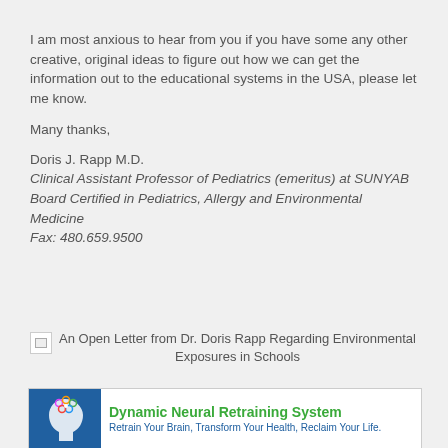I am most anxious to hear from you if you have some any other creative, original ideas to figure out how we can get the information out to the educational systems in the USA, please let me know.
Many thanks,
Doris J. Rapp M.D.
Clinical Assistant Professor of Pediatrics (emeritus) at SUNYAB
Board Certified in Pediatrics, Allergy and Environmental Medicine
Fax: 480.659.9500
[Figure (illustration): Broken image placeholder followed by caption: An Open Letter from Dr. Doris Rapp Regarding Environmental Exposures in Schools]
An Open Letter from Dr. Doris Rapp Regarding Environmental Exposures in Schools
[Figure (logo): Dynamic Neural Retraining System advertisement banner. Logo with colorful circles on blue head silhouette. Text: Dynamic Neural Retraining System. Retrain Your Brain, Transform Your Health, Reclaim Your Life.]